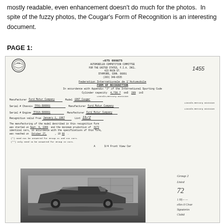mostly readable, even enhancement doesn't do much for the photos.  In spite of the fuzzy photos, the Cougar's Form of Recognition is an interesting document.
PAGE 1:
[Figure (photo): Scanned FIA Form of Recognition document for 1967 Mercury Cougar, including header with +075 699875, Automobiles Competition Committee logo, Federation Internationale de l'Automobile FORM OF RECOGNITION, vehicle details including cylinder capacity 4,736.7 cm3 289 in3, Lincoln-Mercury Division, Ford Motor Company, Model 1967 Cougar, serial numbers, and a 3/4 front view photo of the car with handwritten signatures and notations.]